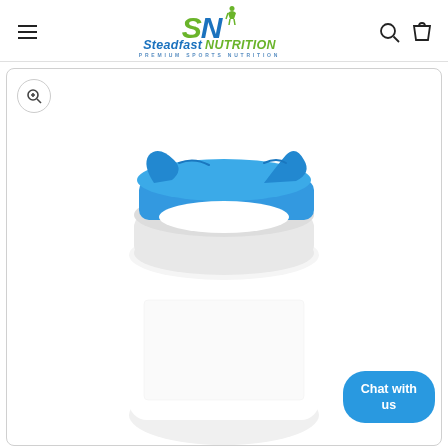Steadfast Nutrition — Premium Sports Nutrition
[Figure (screenshot): Steadfast Nutrition logo with green 'S' and blue 'N' letters, person figure above N, text 'Steadfast NUTRITION' and tagline 'PREMIUM SPORTS NUTRITION']
[Figure (photo): A white shaker bottle with a blue flip-top lid, photographed from above at an angle. The lid is partially open showing blue interior clips.]
Chat with us